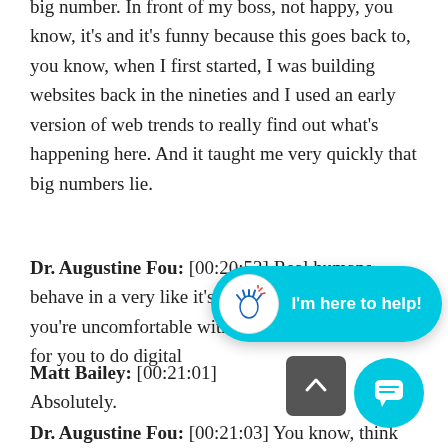big number. In front of my boss, not happy, you know, it's and it's funny because this goes back to, you know, when I first started, I was building websites back in the nineties and I used an early version of web trends to really find out what's happening here. And it taught me very quickly that big numbers lie.
Dr. Augustine Fou: [00:20:53] Real humans behave in a very like it's small numbers. And if you're uncomfortable with small... hard for you to do digital...
Matt Bailey: [00:21:01] Absolutely.
Dr. Augustine Fou: [00:21:03] You know, think